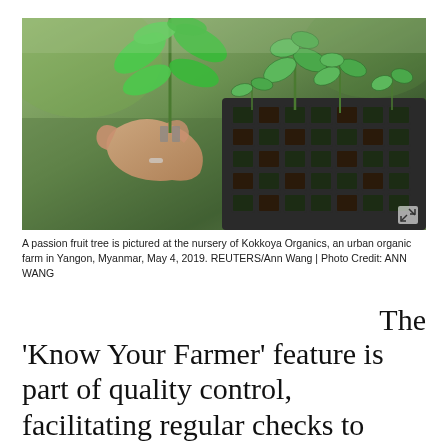[Figure (photo): A hand holding a green passion fruit tree seedling at a nursery. In the background are seedling trays with multiple small plants growing in dark soil compartments. The setting appears to be a greenhouse or nursery. An expand/fullscreen icon appears in the bottom right corner of the image.]
A passion fruit tree is pictured at the nursery of Kokkoya Organics, an urban organic farm in Yangon, Myanmar, May 4, 2019. REUTERS/Ann Wang | Photo Credit: ANN WANG
The 'Know Your Farmer' feature is part of quality control, facilitating regular checks to ensure non-toxic and pesticide-free products